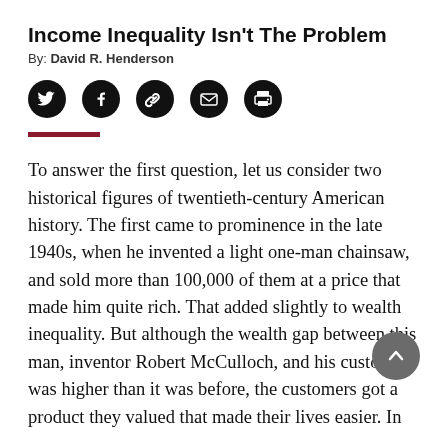Income Inequality Isn't The Problem
By: David R. Henderson
[Figure (other): Row of five social sharing icon circles (Twitter, Facebook, link, email, print) in black circles]
To answer the first question, let us consider two historical figures of twentieth-century American history. The first came to prominence in the late 1940s, when he invented a light one-man chainsaw, and sold more than 100,000 of them at a price that made him quite rich. That added slightly to wealth inequality. But although the wealth gap between this man, inventor Robert McCulloch, and his customers was higher than it was before, the customers got a product they valued that made their lives easier. In